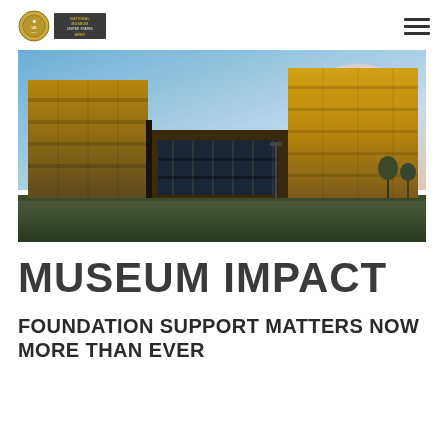[Logo: National Museum of the United States Army]
[Figure (photo): Exterior photograph of a modern museum building with large glass and metal facade panels, photographed at dusk/sunset with warm golden light reflecting off the building surfaces, and a partly cloudy sky in the background.]
MUSEUM IMPACT
FOUNDATION SUPPORT MATTERS NOW MORE THAN EVER